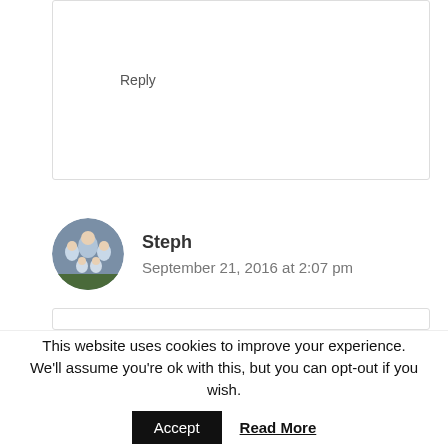Reply
Steph
September 21, 2016 at 2:07 pm
Oh this is brilliant, I have been thinking about Disneyland recently and I wouldn't have a clue what to do for the best as the last I went I was a child! So this is really helpful 🙂
This website uses cookies to improve your experience. We'll assume you're ok with this, but you can opt-out if you wish.
Accept
Read More